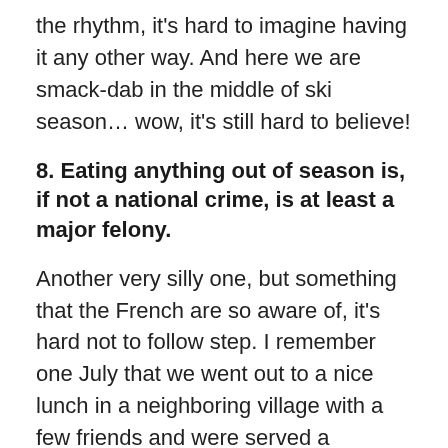the rhythm, it's hard to imagine having it any other way. And here we are smack-dab in the middle of ski season… wow, it's still hard to believe!
8. Eating anything out of season is, if not a national crime, is at least a major felony.
Another very silly one, but something that the French are so aware of, it's hard not to follow step. I remember one July that we went out to a nice lunch in a neighboring village with a few friends and were served a